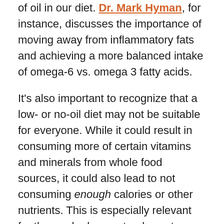of oil in our diet. Dr. Mark Hyman, for instance, discusses the importance of moving away from inflammatory fats and achieving a more balanced intake of omega-6 vs. omega 3 fatty acids.
It's also important to recognize that a low- or no-oil diet may not be suitable for everyone. While it could result in consuming more of certain vitamins and minerals from whole food sources, it could also lead to not consuming enough calories or other nutrients. This is especially relevant for those who have a tendency to under-eat or who are experiencing food insecurity.
I'm personally not siding with any one expert in particular. However, I have found it a fun challenge to cook with less oil and something worth trying as our readership does ask for oil-free options regularly.